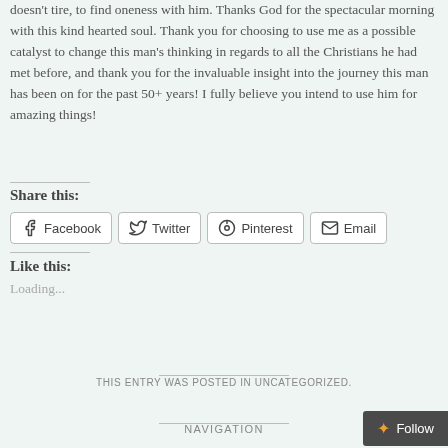doesn't tire, to find oneness with him.  Thanks God for the spectacular morning with this kind hearted soul.  Thank you for choosing to use me as a possible catalyst to change this man's thinking in regards to all the Christians he had met before, and thank you for the invaluable insight into the journey this man has been on for the past 50+ years!  I fully believe you intend to use him for amazing things!
Share this:
Facebook  Twitter  Pinterest  Email
Like this:
Loading...
THIS ENTRY WAS POSTED IN UNCATEGORIZED.
NAVIGATION